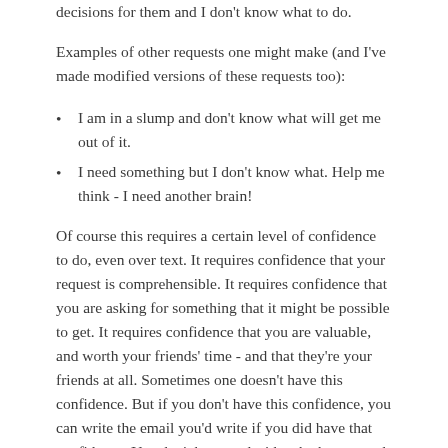decisions for them and I don't know what to do.
Examples of other requests one might make (and I've made modified versions of these requests too):
I am in a slump and don't know what will get me out of it.
I need something but I don't know what. Help me think - I need another brain!
Of course this requires a certain level of confidence to do, even over text. It requires confidence that your request is comprehensible. It requires confidence that you are asking for something that it might be possible to get. It requires confidence that you are valuable, and worth your friends' time - and that they're your friends at all. Sometimes one doesn't have this confidence. But if you don't have this confidence, you can write the email you'd write if you did have that confidence. You don't have to decide whether to send it until it's written - nobody has to see it - but if you write it, and it makes any sense, and it's not an onerous request - why not?